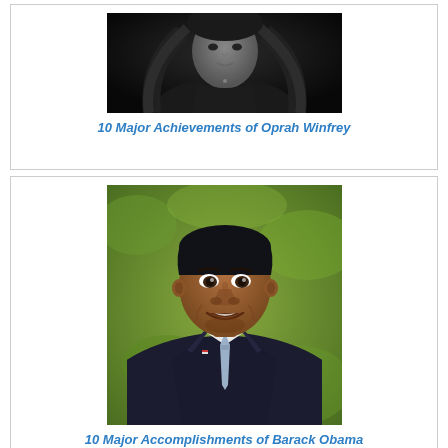[Figure (photo): Black and white photo of Oprah Winfrey, showing upper body with long flowing dark hair]
10 Major Achievements of Oprah Winfrey
[Figure (photo): Color photo of Barack Obama smiling, wearing a dark suit with a light blue tie, outdoor background with green foliage]
10 Major Accomplishments of Barack Obama